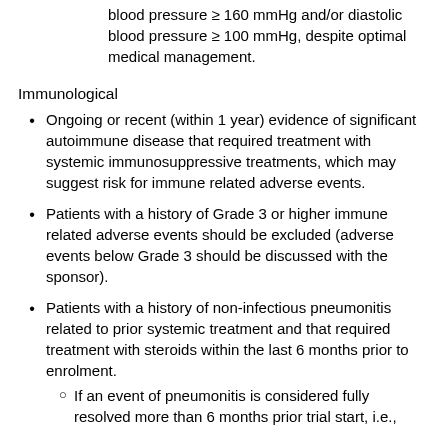blood pressure ≥ 160 mmHg and/or diastolic blood pressure ≥ 100 mmHg, despite optimal medical management.
Immunological
Ongoing or recent (within 1 year) evidence of significant autoimmune disease that required treatment with systemic immunosuppressive treatments, which may suggest risk for immune related adverse events.
Patients with a history of Grade 3 or higher immune related adverse events should be excluded (adverse events below Grade 3 should be discussed with the sponsor).
Patients with a history of non-infectious pneumonitis related to prior systemic treatment and that required treatment with steroids within the last 6 months prior to enrolment.
If an event of pneumonitis is considered fully resolved more than 6 months prior trial start, i.e.,